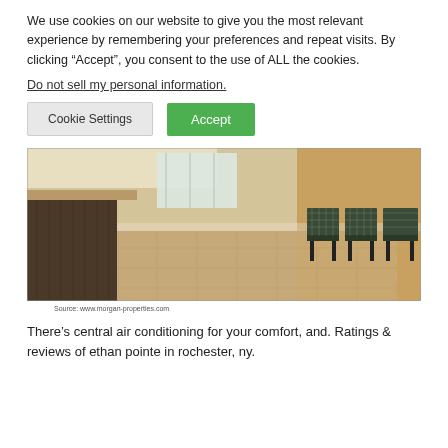We use cookies on our website to give you the most relevant experience by remembering your preferences and repeat visits. By clicking “Accept”, you consent to the use of ALL the cookies.
Do not sell my personal information.
Cookie Settings
Accept
[Figure (photo): Interior lobby photo showing a reception desk on the left with dark wood paneling, beige tiled flooring, and a row of plaid/checkered chairs against a tan wall on the right.]
Source: www.morgan-properties.com
There’s central air conditioning for your comfort, and. Ratings & reviews of ethan pointe in rochester, ny.